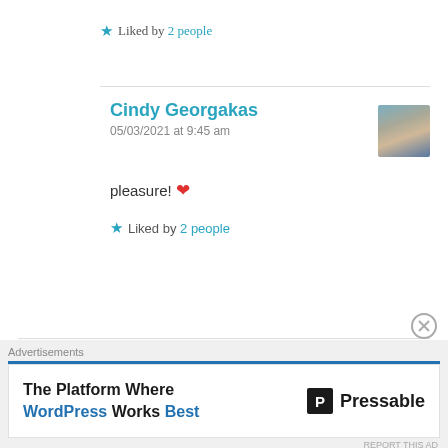★ Liked by 2 people
Cindy Georgakas
05/03/2021 at 9:45 am
pleasure! ❤
★ Liked by 2 people
Lokesh Sastya
05/03/2021 at 10:45 pm
Advertisements
The Platform Where WordPress Works Best
Pressable